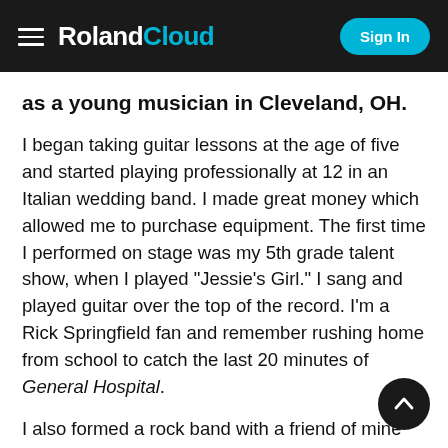Roland Cloud — Sign In
as a young musician in Cleveland, OH.
I began taking guitar lessons at the age of five and started playing professionally at 12 in an Italian wedding band. I made great money which allowed me to purchase equipment. The first time I performed on stage was my 5th grade talent show, when I played "Jessie's Girl." I sang and played guitar over the top of the record. I'm a Rick Springfield fan and remember rushing home from school to catch the last 20 minutes of General Hospital.
I also formed a rock band with a friend of mine down the street who was 16 years old. He was a great keyboard player who was fond of Loverboy and Foreigner. He'd purchased a JX-3P and could play all the